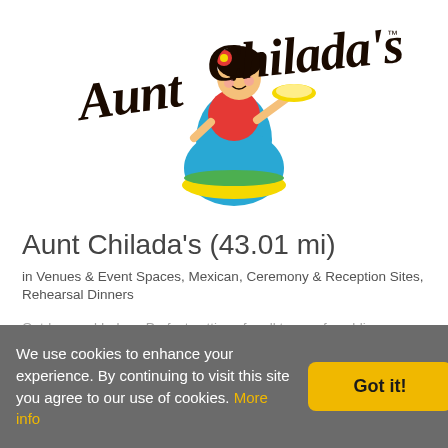[Figure (logo): Aunt Chilada's restaurant logo with a cartoon woman in colorful Mexican dress holding a plate, with stylized cursive text 'Aunt Chilada's' and a trademark symbol]
Aunt Chilada's (43.01 mi)
in Venues & Event Spaces, Mexican, Ceremony & Reception Sites, Rehearsal Dinners
Outdoor and Indoor. Perfect settings for all types of weddings.
7330 N. Dreamy Draw Dr.
We use cookies to enhance your experience. By continuing to visit this site you agree to our use of cookies. More info